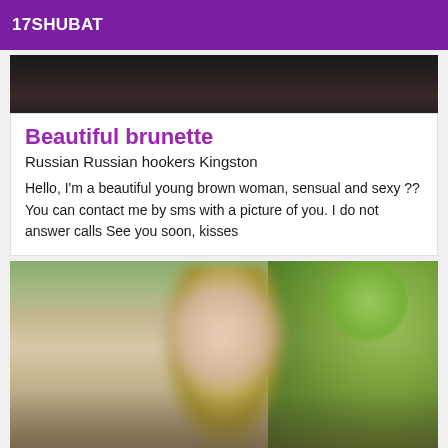17SHUBAT
[Figure (photo): Top portion of a photo, dark background]
Beautiful brunette
Russian Russian hookers Kingston
Hello, I'm a beautiful young brown woman, sensual and sexy ?? You can contact me by sms with a picture of you. I do not answer calls See you soon, kisses
[Figure (photo): Photo of a blonde woman with blurred face outdoors with green foliage background]